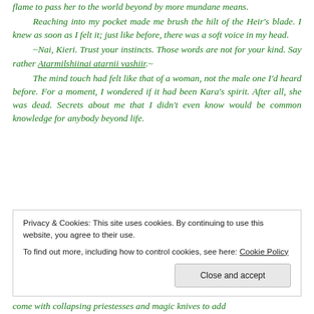flame to pass her to the world beyond by more mundane means.

Reaching into my pocket made me brush the hilt of the Heir's blade. I knew as soon as I felt it; just like before, there was a soft voice in my head.

~Nai, Kieri. Trust your instincts. Those words are not for your kind. Say rather Atarmilshiinai atarnii vashiir.~

The mind touch had felt like that of a woman, not the male one I'd heard before. For a moment, I wondered if it had been Kara's spirit. After all, she was dead. Secrets about me that I didn't even know would be common knowledge for anybody beyond life.
Privacy & Cookies: This site uses cookies. By continuing to use this website, you agree to their use.
To find out more, including how to control cookies, see here: Cookie Policy
Close and accept
come with collapsing priestesses and magic knives to add